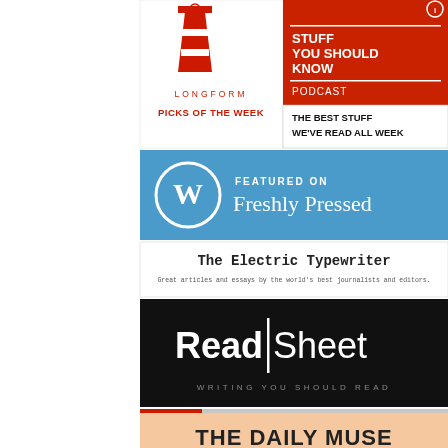[Figure (logo): Longform Picks of the Week logo with red lighthouse icon]
[Figure (logo): Stuff You Should Know Podcast badge with red background and white text]
[Figure (logo): Featured on Freshly Pressed badge with blue background and WordPress W logo]
[Figure (logo): The Electric Typewriter logo with monospace font]
[Figure (logo): ReadSheet - Writing You Should Read badge with black background]
[Figure (logo): Longform Best Article September 9, 2018 badge with red and grey photo background]
[Figure (logo): The Daily Muse - An Archive of Interesting Material on Nothing Specific in Particular badge with peach/salmon background]